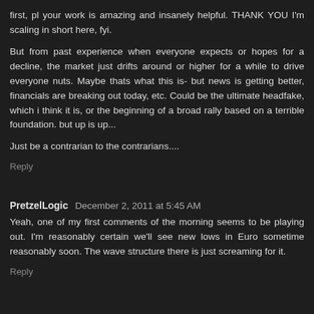first, pl your work is amazing and insanely helpful.  THANK YOU  I'm scaling in short here, fyi.
But from past experience when everyone expects or hopes for a decline, the market just drifts around or higher for a while to drive everyone nuts.  Maybe thats what this is- but news is getting better, financials are breaking out today, etc.  Could be the ultimate headfake, which i think it is, or the beginning of a broad rally based on a terrible foundation. but up is up...
Just be a contrarian to the contrarians....
Reply
PretzelLogic  December 2, 2011 at 5:45 AM
Yeah, one of my first comments of the morning seems to be playing out.  I'm reasonably certain we'll see new lows in Euro sometime reasonably soon.  The wave structure there is just screaming for it.
Reply